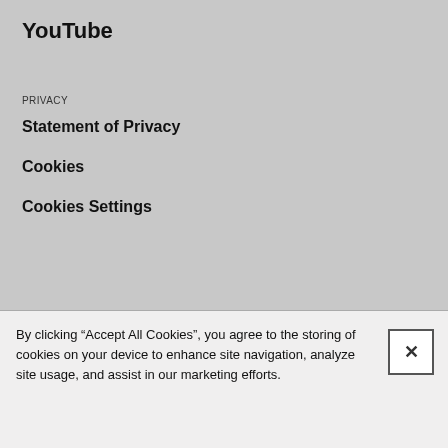YouTube
PRIVACY
Statement of Privacy
Cookies
Cookies Settings
By clicking “Accept All Cookies”, you agree to the storing of cookies on your device to enhance site navigation, analyze site usage, and assist in our marketing efforts.